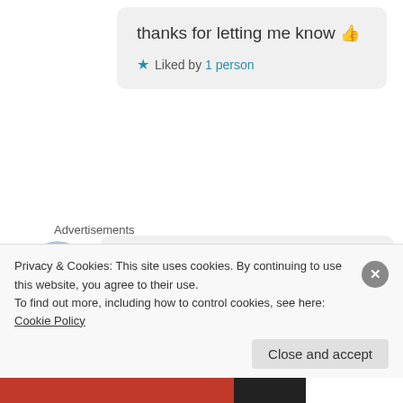thanks for letting me know 👍
★ Liked by 1 person
Advertisements
[Figure (photo): Avatar photo of a young woman with brown hair]
Bizarre Brunette
November 20, 2020 at 2:11 am
I still haven't seen this. I like how all of these films are on HBO Max. They
Privacy & Cookies: This site uses cookies. By continuing to use this website, you agree to their use.
To find out more, including how to control cookies, see here: Cookie Policy
Close and accept